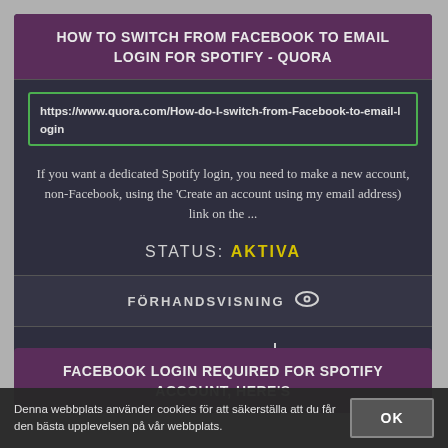HOW TO SWITCH FROM FACEBOOK TO EMAIL LOGIN FOR SPOTIFY - QUORA
https://www.quora.com/How-do-I-switch-from-Facebook-to-email-login
If you want a dedicated Spotify login, you need to make a new account, non-Facebook, using the 'Create an account using my email address) link on the ...
STATUS: AKTIVA
FÖRHANDSVISNING
LADDA NER
FACEBOOK LOGIN REQUIRED FOR SPOTIFY ACCOUNT, HERE'S
Denna webbplats använder cookies för att säkerställa att du får den bästa upplevelsen på vår webbplats.